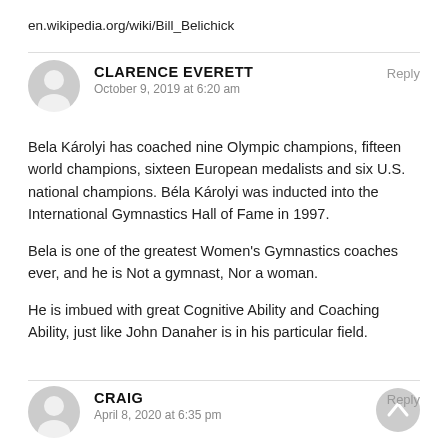en.wikipedia.org/wiki/Bill_Belichick
CLARENCE EVERETT
October 9, 2019 at 6:20 am
Reply
Bela Károlyi has coached nine Olympic champions, fifteen world champions, sixteen European medalists and six U.S. national champions. Béla Károlyi was inducted into the International Gymnastics Hall of Fame in 1997.
Bela is one of the greatest Women's Gymnastics coaches ever, and he is Not a gymnast, Nor a woman.
He is imbued with great Cognitive Ability and Coaching Ability, just like John Danaher is in his particular field.
CRAIG
Reply
April 8, 2020 at 6:35 pm